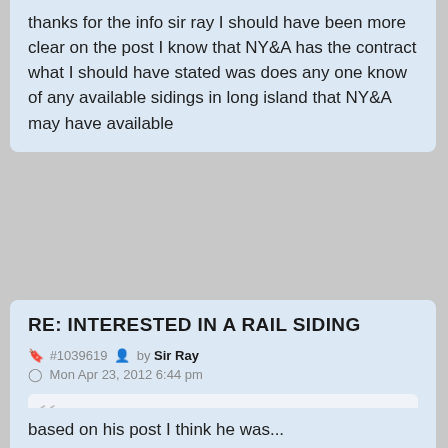thanks for the info sir ray I should have been more clear on the post I know that NY&A has the contract what I should have stated was does any one know of any available sidings in long island that NY&A may have available
RE: INTERESTED IN A RAIL SIDING
#1039619 by Sir Ray
Mon Apr 23, 2012 6:44 pm
PRossa wrote:
thanks for the info sir ray I should have been more clear on the post I know that NY&A has the contract what I should have stated was does any one know of any available sidings in long island that NY&A may have available
based on his post I think he was...